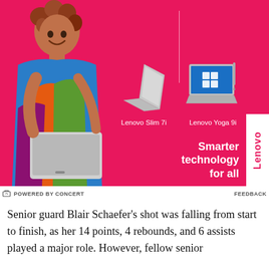[Figure (photo): Lenovo advertisement with pink background showing a woman holding a laptop, two Lenovo laptops (Slim 7i and Yoga 9i) displayed with product names, and Lenovo branding with 'Smarter technology for all' tagline]
POWERED BY CONCERT   FEEDBACK
Senior guard Blair Schaefer's shot was falling from start to finish, as her 14 points, 4 rebounds, and 6 assists played a major role. However, fellow senior